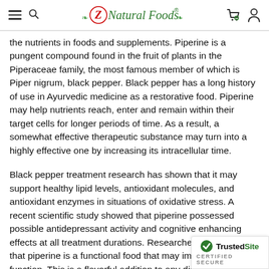Z Natural Foods
the nutrients in foods and supplements. Piperine is a pungent compound found in the fruit of plants in the Piperaceae family, the most famous member of which is Piper nigrum, black pepper. Black pepper has a long history of use in Ayurvedic medicine as a restorative food. Piperine may help nutrients reach, enter and remain within their target cells for longer periods of time. As a result, a somewhat effective therapeutic substance may turn into a highly effective one by increasing its intracellular time.
Black pepper treatment research has shown that it may support healthy lipid levels, antioxidant molecules, and antioxidant enzymes in situations of oxidative stress. A recent scientific study showed that piperine possessed possible antidepressant activity and cognitive enhancing effects at all treatment durations. Researchers determined that piperine is a functional food that may improve brain function. This is a flavorful addition to any dish and turns the average meal into a superfood feast.
Some possible traditional uses of Organic Black Pepper Powder may include:
[Figure (logo): TrustedSite CERTIFIED SECURE badge]